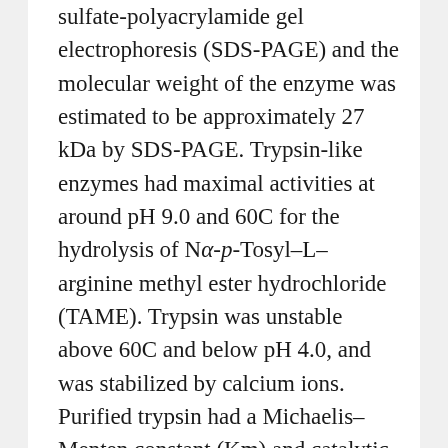…analyzed by sodium dodecyl sulfate-polyacrylamide gel electrophoresis (SDS-PAGE) and the molecular weight of the enzyme was estimated to be approximately 27 kDa by SDS-PAGE. Trypsin-like enzymes had maximal activities at around pH 9.0 and 60C for the hydrolysis of Nα-p-Tosyl–L–arginine methyl ester hydrochloride (TAME). Trypsin was unstable above 60C and below pH 4.0, and was stabilized by calcium ions. Purified trypsin had a Michaelis–Menten constant (Km) and catalytic constant (Kcat) of 0.53 mM and 206 s−1, respectively, when TAME was used as the substrate. The specific